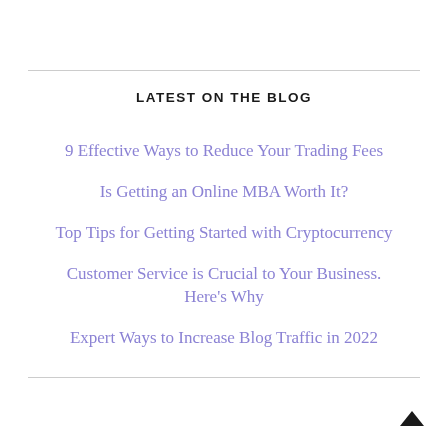LATEST ON THE BLOG
9 Effective Ways to Reduce Your Trading Fees
Is Getting an Online MBA Worth It?
Top Tips for Getting Started with Cryptocurrency
Customer Service is Crucial to Your Business. Here's Why
Expert Ways to Increase Blog Traffic in 2022